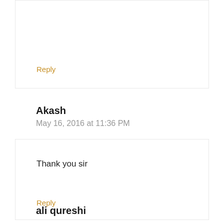Reply
Akash
May 16, 2016 at 11:36 PM
Thank you sir
Reply
ali qureshi